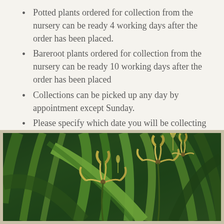Potted plants ordered for collection from the nursery can be ready 4 working days after the order has been placed.
Bareroot plants ordered for collection from the nursery can be ready 10 working days after the order has been placed
Collections can be picked up any day by appointment except Sunday.
Please specify which date you will be collecting on in the 'order notes' box at the checkout.
[Figure (photo): Close-up photograph of iris-like plants with yellow-cream and brown-tinted flowers and long green strap-like leaves]